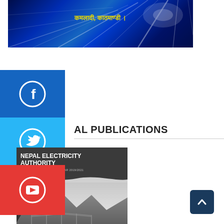[Figure (photo): Top banner with blue starburst light rays background and Nepali text in yellow, mentioning Kamladi, Kathmandu]
[Figure (logo): Facebook social media icon - white Facebook logo on blue background]
AL PUBLICATIONS
[Figure (logo): Twitter social media icon - white Twitter bird logo on light blue background]
[Figure (photo): Nepal Electricity Authority publication cover - A Year in Review, Fiscal Year 2019/2021, showing mountain landscape in black and white]
[Figure (logo): YouTube social media icon - white YouTube play button on red background]